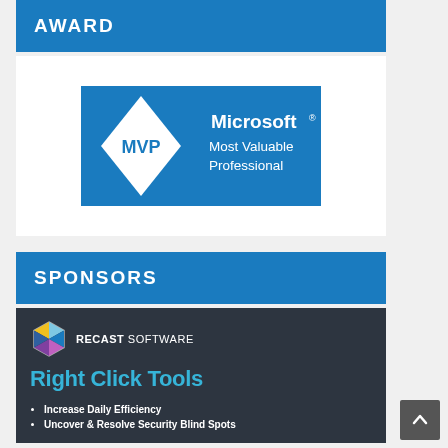AWARD
[Figure (logo): Microsoft MVP (Most Valuable Professional) logo — blue rectangle with white diamond shape containing 'MVP' text and 'Microsoft® Most Valuable Professional' text]
SPONSORS
[Figure (logo): Recast Software advertisement with hexagon logo, text 'RECAST SOFTWARE', heading 'Right Click Tools', bullet points 'Increase Daily Efficiency' and 'Uncover & Resolve Security Blind Spots']